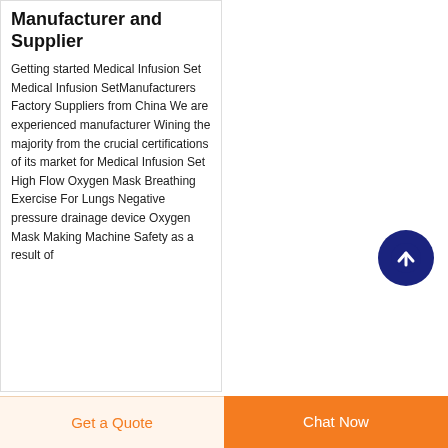Manufacturer and Supplier
Getting started Medical Infusion Set Medical Infusion SetManufacturers Factory Suppliers from China We are experienced manufacturer Wining the majority from the crucial certifications of its market for Medical Infusion Set High Flow Oxygen Mask Breathing Exercise For Lungs Negative pressure drainage device Oxygen Mask Making Machine Safety as a result of
[Figure (other): Scroll-to-top button: dark navy blue circle with white upward arrow icon]
Get a Quote
Chat Now